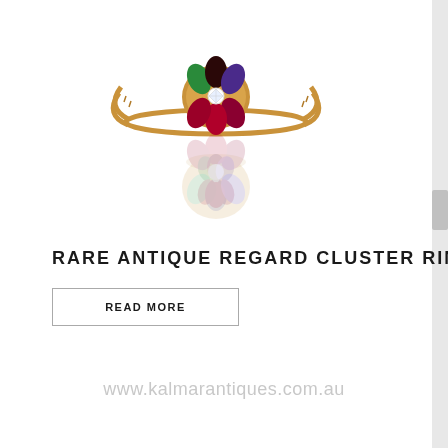[Figure (photo): Antique gold cluster ring with colorful gemstone flower petals (emerald green, dark red/garnet, purple, deep red/ruby) and a small central diamond, shown on white background with a reflection below.]
RARE ANTIQUE REGARD CLUSTER RING
READ MORE
www.kalmarantiques.com.au